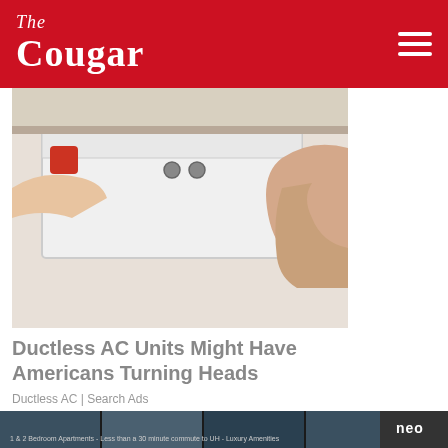The Cougar
[Figure (photo): Person installing or adjusting a window AC unit, hands visible holding the unit]
Ductless AC Units Might Have Americans Turning Heads
Ductless AC | Search Ads
[Figure (photo): Blurry exterior shot of a building or parking area with lights at dusk]
[Figure (photo): Banner advertisement for Neo Apartments — 1 & 2 Bedroom Apartments, Less than a 30 minute commute to UH, Luxury Amenities]